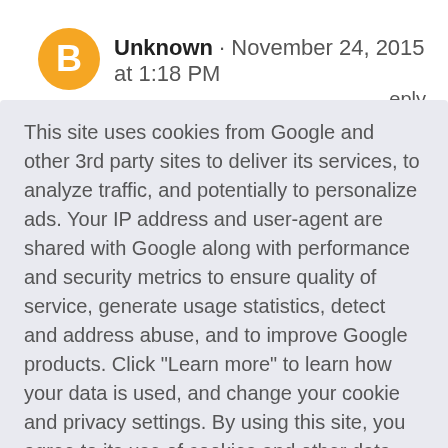[Figure (logo): Blogger orange avatar/icon circle with 'B' letter]
Unknown · November 24, 2015 at 1:18 PM
reply
This site uses cookies from Google and other 3rd party sites to deliver its services, to analyze traffic, and potentially to personalize ads. Your IP address and user-agent are shared with Google along with performance and security metrics to ensure quality of service, generate usage statistics, detect and address abuse, and to improve Google products. Click "Learn more" to learn how your data is used, and change your cookie and privacy settings. By using this site, you agree to its use of cookies and other data.
Learn more
Got it!
comments to date.. i have no idea how